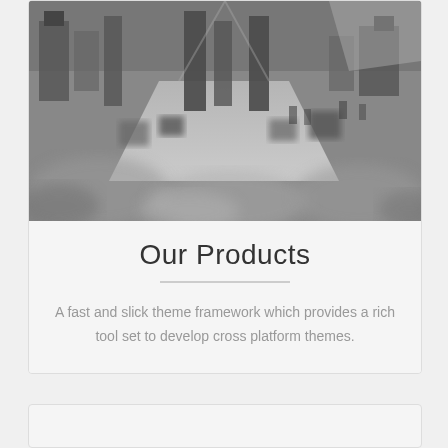[Figure (photo): Aerial black and white photo of an industrial or warehouse floor with machinery and equipment, slightly blurred in the foreground]
Our Products
A fast and slick theme framework which provides a rich tool set to develop cross platform themes.